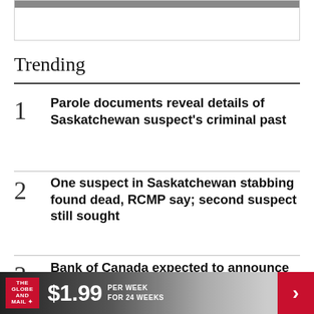[Figure (other): A partially visible image or banner at the top of the page with a gray bar]
Trending
1  Parole documents reveal details of Saskatchewan suspect's criminal past
2  One suspect in Saskatchewan stabbing found dead, RCMP say; second suspect still sought
3  Bank of Canada expected to announce another oversized rate hike as borrowing costs begin to bite
[Figure (advertisement): The Globe and Mail advertisement banner: $1.99 per week for 24 weeks]